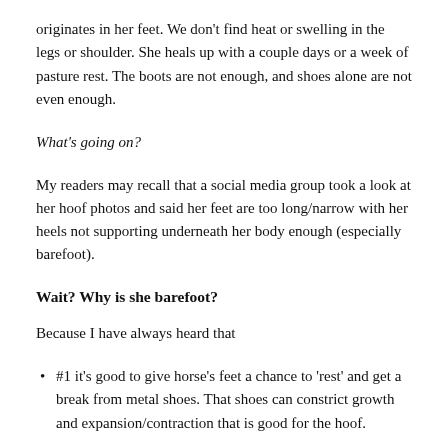originates in her feet. We don't find heat or swelling in the legs or shoulder. She heals up with a couple days or a week of pasture rest. The boots are not enough, and shoes alone are not even enough.
What's going on?
My readers may recall that a social media group took a look at her hoof photos and said her feet are too long/narrow with her heels not supporting underneath her body enough (especially barefoot).
Wait? Why is she barefoot?
Because I have always heard that
#1 it's good to give horse's feet a chance to 'rest' and get a break from metal shoes. That shoes can constrict growth and expansion/contraction that is good for the hoof.
#2 we usually get enough snow here that accumulation of